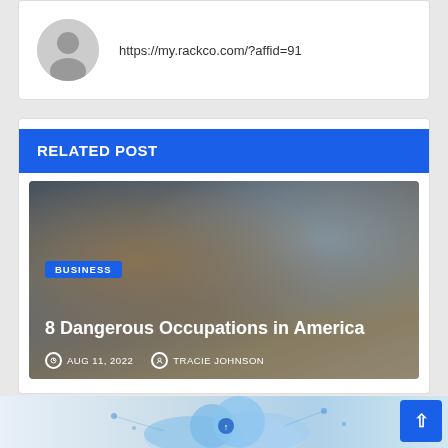https://my.rackco.com/?affid=91
RELATED POST
[Figure (photo): Man sitting at computer desk, thinking, holding glasses, looking at monitor, office environment]
8 Dangerous Occupations in America
AUG 11, 2022   TRACIE JOHNSON
[Figure (illustration): Partial bottom image showing cloud and data network graphics in blue tones]